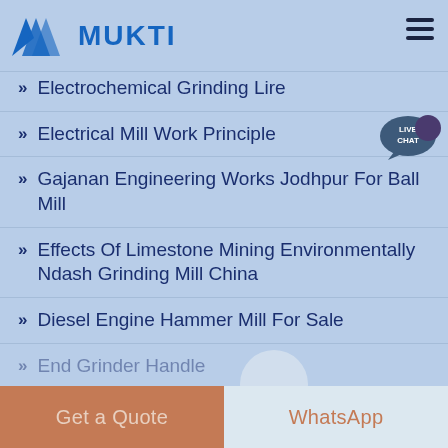MUKTI
Electrochemical Grinding Lire
Electrical Mill Work Principle
Gajanan Engineering Works Jodhpur For Ball Mill
Effects Of Limestone Mining Environmentally Ndash Grinding Mill China
Diesel Engine Hammer Mill For Sale
End Grinder Handle